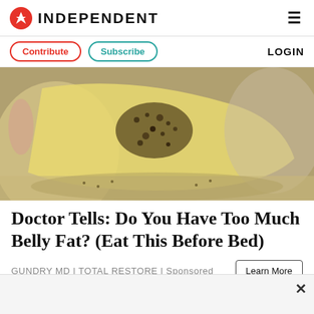INDEPENDENT
Contribute | Subscribe | LOGIN
[Figure (photo): Close-up photo of a yellowish translucent food item with seeds/spices sprinkled on top, held between fingers over a bowl]
Doctor Tells: Do You Have Too Much Belly Fat? (Eat This Before Bed)
GUNDRY MD | TOTAL RESTORE | Sponsored
Learn More